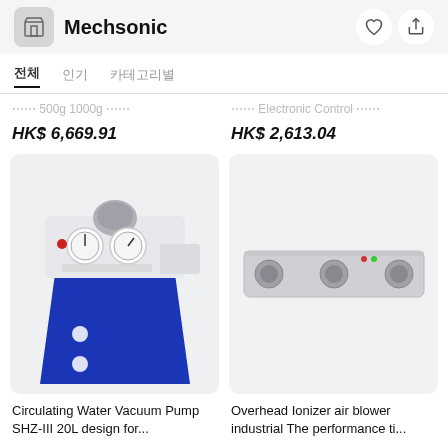Mechsonic
전체  인기  카테고리별
HK$ 6,669.91   HK$ 2,613.04
[Figure (photo): Circulating Water Vacuum Pump machine with blue base and two gauges on front panel]
[Figure (photo): Overhead Ionizer air blower industrial device, horizontal bar shape in grey color]
Circulating Water Vacuum Pump SHZ-III 20L design for...
Overhead Ionizer air blower industrial The performance ti...